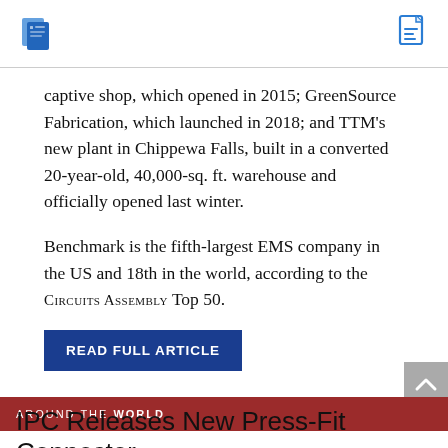captive shop, which opened in 2015; GreenSource Fabrication, which launched in 2018; and TTM's new plant in Chippewa Falls, built in a converted 20-year-old, 40,000-sq. ft. warehouse and officially opened last winter.
Benchmark is the fifth-largest EMS company in the US and 18th in the world, according to the Circuits Assembly Top 50.
READ FULL ARTICLE
AROUND THE WORLD
IPC Releases New Press-Fit Connector